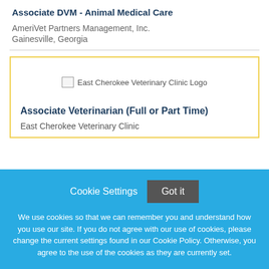Associate DVM - Animal Medical Care
AmeriVet Partners Management, Inc.
Gainesville, Georgia
[Figure (logo): East Cherokee Veterinary Clinic Logo (broken image)]
Associate Veterinarian (Full or Part Time)
East Cherokee Veterinary Clinic
Cookie Settings   Got it

We use cookies so that we can remember you and understand how you use our site. If you do not agree with our use of cookies, please change the current settings found in our Cookie Policy. Otherwise, you agree to the use of the cookies as they are currently set.